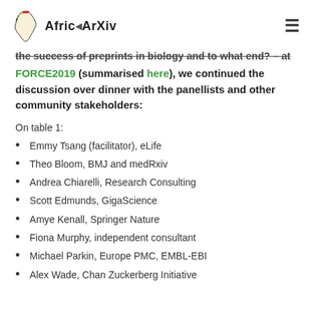AfricArXiv
the success of preprints in biology and to what end? – at FORCE2019 (summarised here), we continued the discussion over dinner with the panellists and other community stakeholders:
On table 1:
Emmy Tsang (facilitator), eLife
Theo Bloom, BMJ and medRxiv
Andrea Chiarelli, Research Consulting
Scott Edmunds, GigaScience
Amye Kenall, Springer Nature
Fiona Murphy, independent consultant
Michael Parkin, Europe PMC, EMBL-EBI
Alex Wade, Chan Zuckerberg Initiative